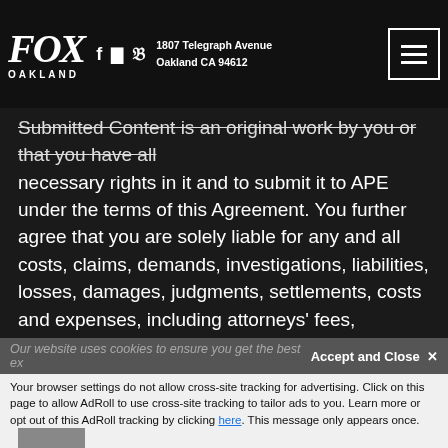FOX OAKLAND | 1807 Telegraph Avenue, Oakland CA 94612
cannot and does not guarantee the accuracy, completeness or information in any material posted or submitted by a pictures. You represent that your Submitted Content is an original work by you or that you have all necessary rights in it and to submit it to APE under the terms of this Agreement. You further agree that you are solely liable for any and all costs, claims, demands, investigations, liabilities, losses, damages, judgments, settlements, costs and expenses, including attorneys' fees, connected to or arising from your breach of any representation or warranty, or other violation of this Agreement. If APE determines, in APE's sole discretion and judgment, that your Submitted Content violates, or may violate, any of the terms of this Agreement, APE reserves the right to (a) refuse to allow you to upload information or otherwise transmit material, (b) remove and delete your Submitted Content, (c)
Our website uses cookies to ensure you get the best ex... Accept and Close ✕ Your browser settings do not allow cross-site tracking for advertising. Click on this page to allow AdRoll to use cross-site tracking to tailor ads to you. Learn more or opt out of this AdRoll tracking by clicking here. This message only appears once.